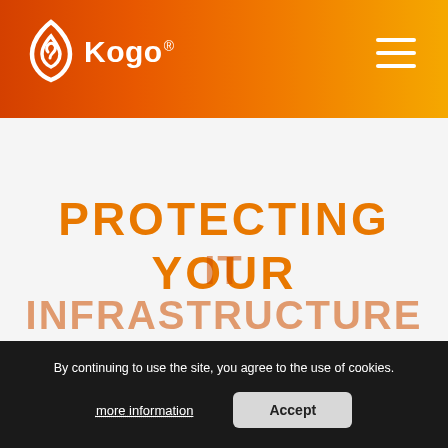[Figure (logo): Kogo brand logo: white flame/swirl icon and white 'Kogo' wordmark with registered trademark symbol on an orange-to-yellow gradient header bar with hamburger menu icon on the right]
PROTECTING YOUR
IT INFRASTRUCTURE
By continuing to use the site, you agree to the use of cookies.
more information
Accept